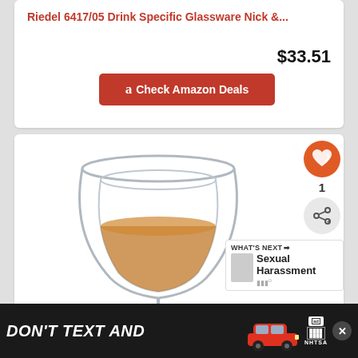Riedel 6417/05 Drink Specific Glassware Nick &...
$33.51
Check Amazon Deals
[Figure (photo): Double-walled glass goblet partially filled with amber liquid (whisky/brandy), on a white background]
1
WHAT'S NEXT → Sexual Harassment
[Figure (screenshot): Ad banner: DON'T TEXT AND [car image] with ad and NHTSA branding, close button]